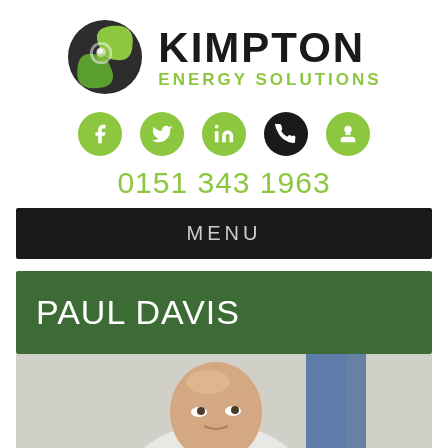[Figure (logo): Kimpton Energy Solutions logo with green swirl icon and company name]
[Figure (infographic): Social media icons: Facebook, Twitter, LinkedIn, Phone, Contact person — all in green circles except phone in black]
0151 343 1963
MENU
PAUL DAVIS
[Figure (photo): Photo of Paul Davis, a bald man looking upward, partially visible, with blue element in background]